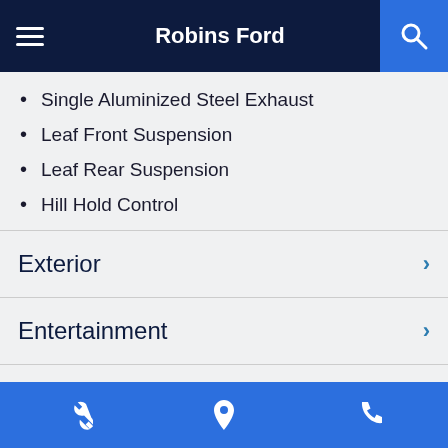Robins Ford
Single Aluminized Steel Exhaust
Leaf Front Suspension
Leaf Rear Suspension
Hill Hold Control
Exterior
Entertainment
Interior
Safety